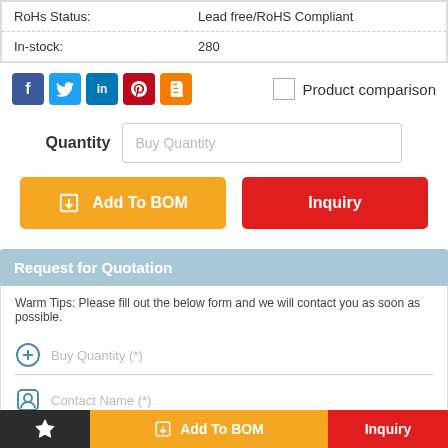| RoHs Status: | Lead free/RoHS Compliant |
| In-stock: | 280 |
[Figure (infographic): Social media share icons: Facebook, Twitter, LinkedIn, Pinterest, Blogger. Product comparison checkbox.]
Quantity  Buy Quantity
Add To BOM   Inquiry
Request for Quotation
Warm Tips: Please fill out the below form and we will contact you as soon as possible.
Buy Quantity (*)
Contact Name (*)
Add To BOM   Inquiry